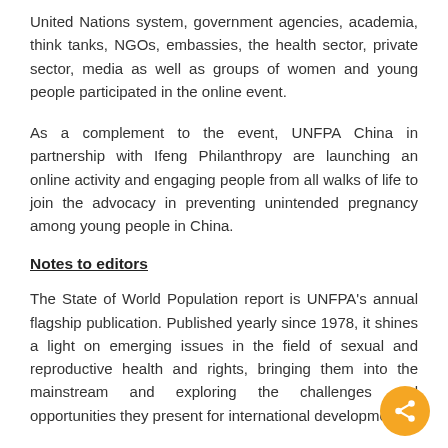United Nations system, government agencies, academia, think tanks, NGOs, embassies, the health sector, private sector, media as well as groups of women and young people participated in the online event.
As a complement to the event, UNFPA China in partnership with Ifeng Philanthropy are launching an online activity and engaging people from all walks of life to join the advocacy in preventing unintended pregnancy among young people in China.
Notes to editors
The State of World Population report is UNFPA's annual flagship publication. Published yearly since 1978, it shines a light on emerging issues in the field of sexual and reproductive health and rights, bringing them into the mainstream and exploring the challenges and opportunities they present for international development.
The report's analysis builds upon new data from our